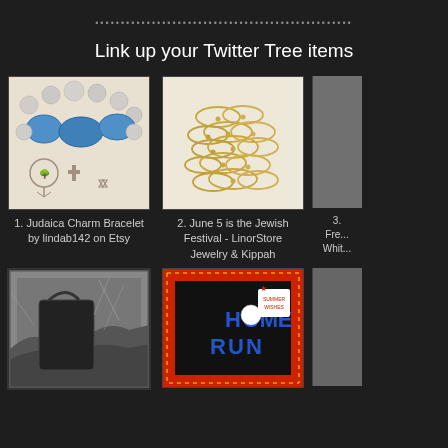••••••••••••••••••••••••••••••••••••••••••••••••••••
Link up your Twitter Tree items
[Figure (photo): Judaica charm bracelet with blue stones, pearl beads, tree of life charm, cross charm, and Star of David charm]
1. Judaica Charm Bracelet by lindab142 on Etsy
[Figure (photo): Tangled gold rings/hoops jewelry, Jewish Festival item from LinorStore]
2. June 5 is the Jewish Festival - LinorStore Jewelry & Kippah
3. Fre... Whit...
[Figure (photo): Black and white photo of a leather bag or purse with foliage]
[Figure (photo): Home Run greeting card with red border and polka dots, blue letters spelling HOME RUN]
[Figure (photo): Partially visible third item on right edge]